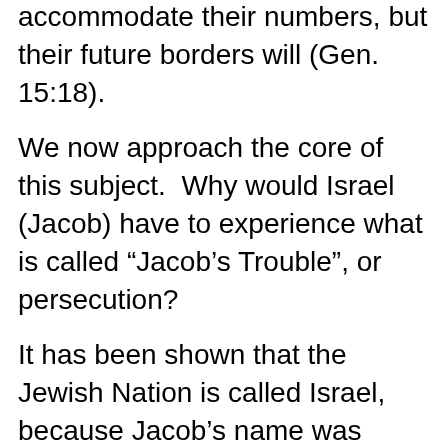accommodate their numbers, but their future borders will (Gen. 15:18).
We now approach the core of this subject. Why would Israel (Jacob) have to experience what is called “Jacob’s Trouble”, or persecution?
It has been shown that the Jewish Nation is called Israel, because Jacob’s name was changed to Isra-el in Gen. 32 and reiterated in Gen. 35. That was because Gen. 32:28 states; (AV & KJV) “God said, thy name shall be called no more Jacob (contender, used of the natural Jacob), but Israel (God